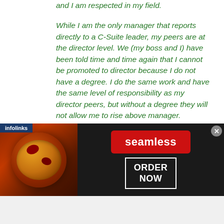and I am respected in my field.
While I am the only manager that reports directly to a C-Suite leader, my peers are at the director level. We (my boss and I) have been told time and time again that I cannot be promoted to director because I do not have a degree. I do the same work and have the same level of responsibility as my director peers, but without a degree they will not allow me to rise above manager.
I am basically a director without a
[Figure (screenshot): Infolinks ad banner for Seamless food delivery service featuring pizza image on the left, Seamless red logo in center, and ORDER NOW button on the right with a close (x) button]